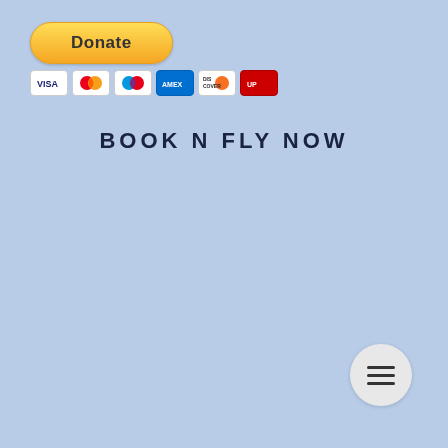[Figure (logo): PayPal Donate button with yellow rounded rectangle background and bold 'Donate' text, followed by a row of payment card icons: Visa, Mastercard, Maestro, American Express, Discover, UnionPay]
BOOK N FLY NOW
[Figure (other): Hamburger menu button — circular light grey button with three horizontal dark lines]